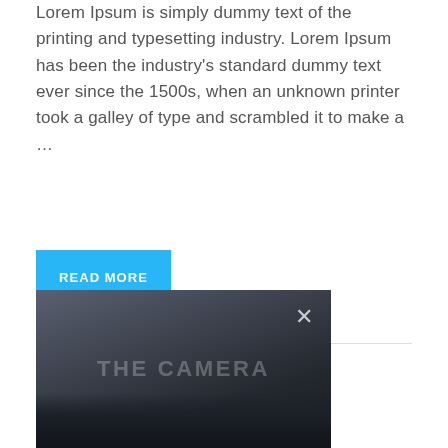Lorem Ipsum is simply dummy text of the printing and typesetting industry. Lorem Ipsum has been the industry's standard dummy text ever since the 1500s, when an unknown printer took a galley of type and scrambled it to make a …
READ MORE
[Figure (photo): Dark foggy photo with watermark text 'THE CAMERA' partially visible and an X close button in the upper right corner]